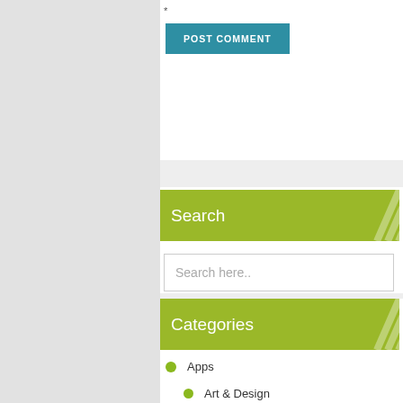*
POST COMMENT
Search
Search here..
Categories
Apps
Art & Design
Auto & Vehicles
Best Apps